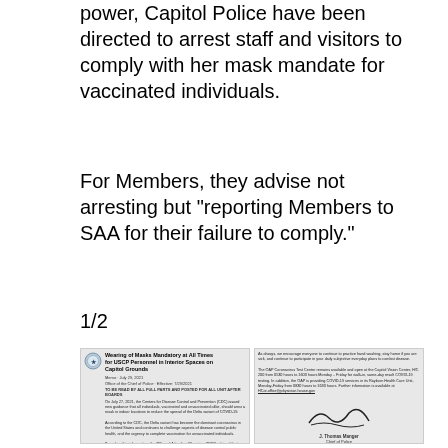power, Capitol Police have been directed to arrest staff and visitors to comply with her mask mandate for vaccinated individuals.
For Members, they advise not arresting but "reporting Members to SAA for their failure to comply."
1/2
[Figure (photo): Two-panel image of a US Capitol Police memorandum. Left panel shows the full text of a memo titled 'Wearing of Masks Mandatory at All Times for USCP Personnel in Interior Spaces on Capitol Grounds' dated July 29, 2021, signed by Chief of Police J. Thomas Manger. Right panel shows the signature page of the same document with additional COVID testing information and the Chief's handwritten signature.]